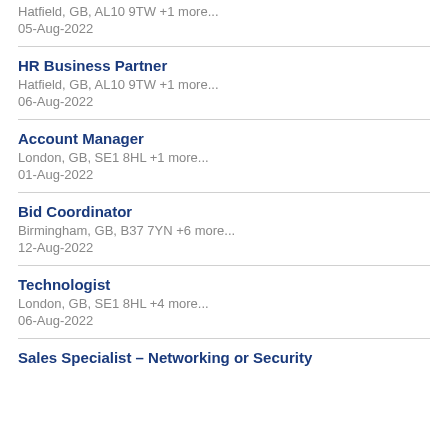Hatfield, GB, AL10 9TW +1 more...
05-Aug-2022
HR Business Partner
Hatfield, GB, AL10 9TW +1 more...
06-Aug-2022
Account Manager
London, GB, SE1 8HL +1 more...
01-Aug-2022
Bid Coordinator
Birmingham, GB, B37 7YN +6 more...
12-Aug-2022
Technologist
London, GB, SE1 8HL +4 more...
06-Aug-2022
Sales Specialist – Networking or Security